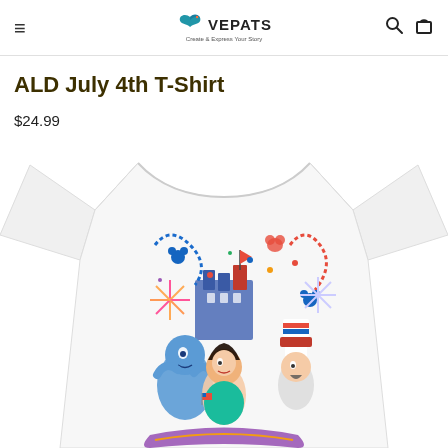≡ VEPATS [logo with bird] 🔍 🛍
ALD July 4th T-Shirt
$24.99
[Figure (photo): White t-shirt with Aladdin-themed July 4th graphic featuring Disney characters (Genie, Jasmine, and a villain in Uncle Sam hat) with a castle, fireworks, and patriotic red, white, blue decorations in the center chest area.]